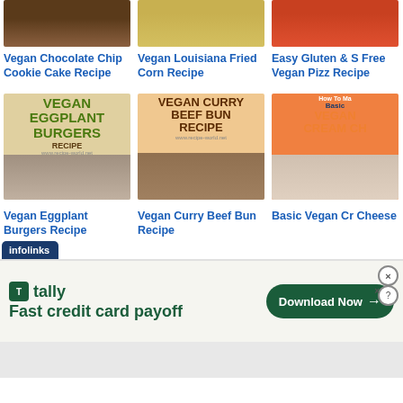[Figure (photo): Vegan Chocolate Chip Cookie Cake thumbnail]
[Figure (photo): Vegan Louisiana Fried Corn thumbnail]
[Figure (photo): Easy Gluten Free Vegan Pizza Recipe thumbnail]
Vegan Chocolate Chip Cookie Cake Recipe
Vegan Louisiana Fried Corn Recipe
Easy Gluten & Free Vegan Pizza Recipe
[Figure (photo): Vegan Eggplant Burgers Recipe thumbnail with text overlay]
[Figure (photo): Vegan Curry Beef Bun Recipe thumbnail with text overlay]
[Figure (photo): Basic Vegan Cream Cheese thumbnail with text overlay]
Vegan Eggplant Burgers Recipe
Vegan Curry Beef Bun Recipe
Basic Vegan Cream Cheese
infolinks
[Figure (screenshot): Tally advertisement banner: Fast credit card payoff, Download Now button]